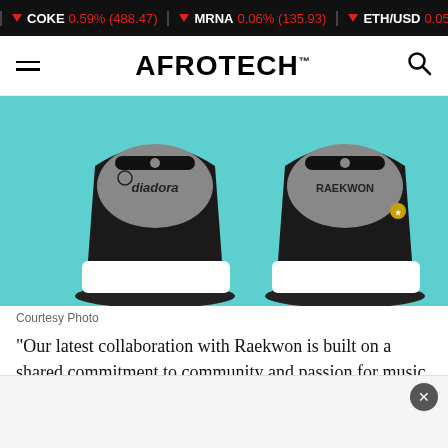COKE ▼ 0.59% (488.47) | MRNA ▼ 0.06% (135.93) | ETH/USD ▼ 0.05% (155...)
AFROTECH™
[Figure (photo): Rear view of two Diadora x Raekwon sneakers on a teal/mint background. Left shoe has 'diadora' branding on the insole, right shoe has 'RAEKWON' written on the insole.]
Courtesy Photo
“Our latest collaboration with Raekwon is built on a shared commitment to community and passion for music and sport,” said Claudio Bora, CEO of Diadora. “We’re excited to provide young musicians with an opportunity to gain experience from some of the best artists in the business and each city with a sneaker that celebrates its unique